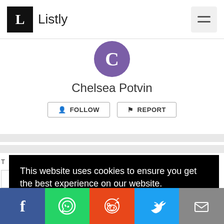Listly
[Figure (illustration): Purple circular avatar with letter C]
Chelsea Potvin
FOLLOW   REPORT
This website uses cookies to ensure you get the best experience on our website. Learn more
Got it!
Facebook | WhatsApp | Reddit | Twitter | Email